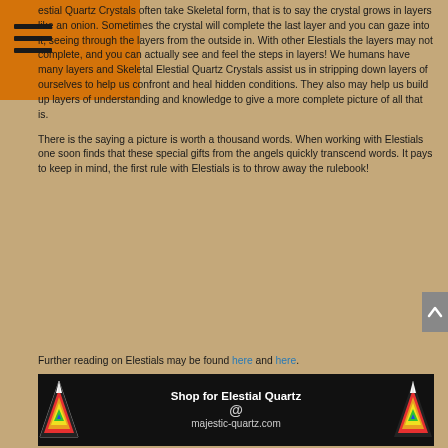[Figure (logo): Orange navigation header bar with hamburger menu icon (three horizontal lines) in top-left corner]
Elestial Quartz Crystals often take Skeletal form, that is to say the crystal grows in layers like an onion. Sometimes the crystal will complete the last layer and you can gaze into it, seeing through the layers from the outside in. With other Elestials the layers may not complete, and you can actually see and feel the steps in layers! We humans have many layers and Skeletal Elestial Quartz Crystals assist us in stripping down layers of ourselves to help us confront and heal hidden conditions. They also may help us build up layers of understanding and knowledge to give a more complete picture of all that is.
There is the saying a picture is worth a thousand words. When working with Elestials one soon finds that these special gifts from the angels quickly transcend words. It pays to keep in mind, the first rule with Elestials is to throw away the rulebook!
Further reading on Elestials may be found here and here.
[Figure (infographic): Black banner advertisement reading 'Shop for Elestial Quartz @ majestic-quartz.com' with two colorful pyramid/crystal logos on either side]